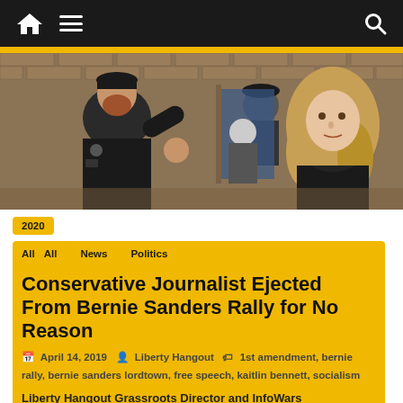Liberty Hangout navigation bar
[Figure (photo): A security officer in black uniform gesturing with hand raised, speaking to a young woman with blonde curly hair, in a brick hallway. Another man with a cap stands in the background.]
2020
All
News
Politics
Conservative Journalist Ejected From Bernie Sanders Rally for No Reason
April 14, 2019   Liberty Hangout   1st amendment, bernie rally, bernie sanders lordtown, free speech, kaitlin bennett, socialism
Liberty Hangout Grassroots Director and InfoWars